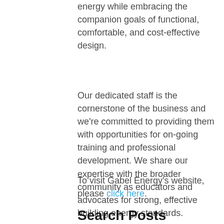energy while embracing the companion goals of functional, comfortable, and cost-effective design.
Our dedicated staff is the cornerstone of the business and we're committed to providing them with opportunities for on-going training and professional development. We share our expertise with the broader community as educators and advocates for strong, effective building energy standards.
To visit Gabel Energy's website, please click here.
Search Posts